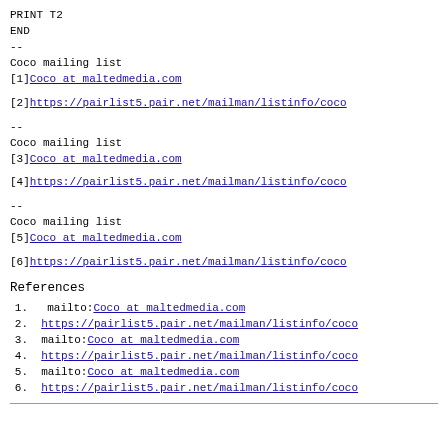PRINT T2
END
--
Coco mailing list
[1]Coco at maltedmedia.com
[2]https://pairlist5.pair.net/mailman/listinfo/coco
--
Coco mailing list
[3]Coco at maltedmedia.com
[4]https://pairlist5.pair.net/mailman/listinfo/coco
--
Coco mailing list
[5]Coco at maltedmedia.com
[6]https://pairlist5.pair.net/mailman/listinfo/coco
References
1. mailto:Coco at maltedmedia.com
2. https://pairlist5.pair.net/mailman/listinfo/coco
3. mailto:Coco at maltedmedia.com
4. https://pairlist5.pair.net/mailman/listinfo/coco
5. mailto:Coco at maltedmedia.com
6. https://pairlist5.pair.net/mailman/listinfo/coco